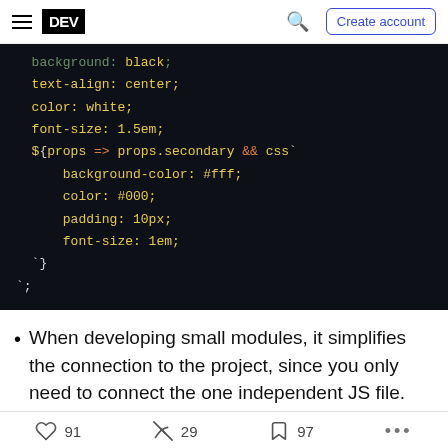DEV | Create account
[Figure (screenshot): Dark-themed code block showing CSS-in-JS styled-components code with yellow and orange syntax highlighting on a near-black background. Code shows: text-align: center; color: white; font-size: 1.5em; ${props => props.secondary && css` background-color: #fff; color: #000; padding: 10px; font-size: 1em; `} `; ]
When developing small modules, it simplifies the connection to the project, since you only need to connect the one independent JS file.
91  29  97  ...